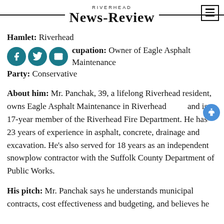RIVERHEAD NEWS-REVIEW
Hamlet: Riverhead
Occupation: Owner of Eagle Asphalt Maintenance
Party: Conservative
About him: Mr. Panchak, 39, a lifelong Riverhead resident, owns Eagle Asphalt Maintenance in Riverhead and is a 17-year member of the Riverhead Fire Department. He has 23 years of experience in asphalt, concrete, drainage and excavation. He's also served for 18 years as an independent snowplow contractor with the Suffolk County Department of Public Works.
His pitch: Mr. Panchak says he understands municipal contracts, cost effectiveness and budgeting, and believes he